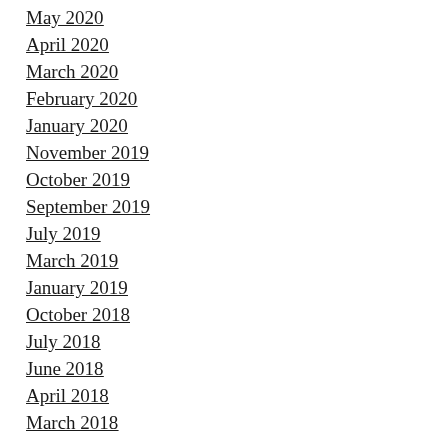May 2020
April 2020
March 2020
February 2020
January 2020
November 2019
October 2019
September 2019
July 2019
March 2019
January 2019
October 2018
July 2018
June 2018
April 2018
March 2018